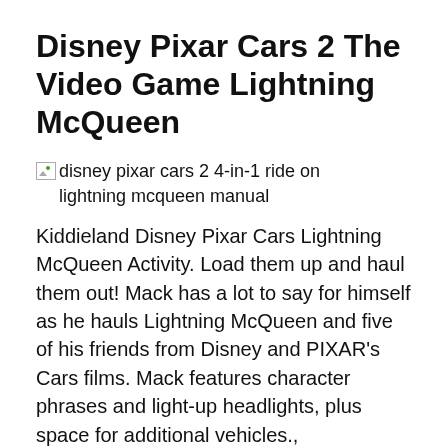Disney Pixar Cars 2 The Video Game Lightning McQueen
[Figure (photo): Broken image placeholder with alt text: disney pixar cars 2 4-in-1 ride on lightning mcqueen manual]
Kiddieland Disney Pixar Cars Lightning McQueen Activity. Load them up and haul them out! Mack has a lot to say for himself as he hauls Lightning McQueen and five of his friends from Disney and PIXAR's Cars films. Mack features character phrases and light-up headlights, plus space for additional vehicles., **Kiddieland Disney Pixar Cars Lightning McQueen Activity Race** Disney Pixar Cars 2 the road